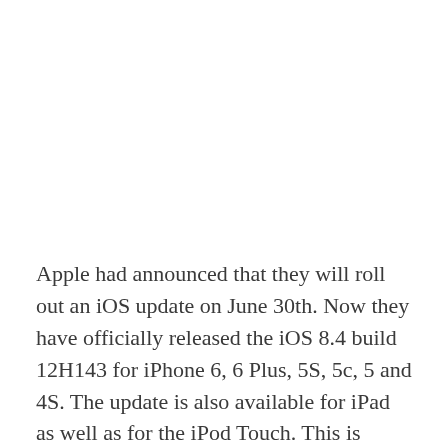Apple had announced that they will roll out an iOS update on June 30th. Now they have officially released the iOS 8.4 build 12H143 for iPhone 6, 6 Plus, 5S, 5c, 5 and 4S. The update is also available for iPad as well as for the iPod Touch. This is much awaited update as it brings the support for Apple Music that was announced at the Worldwide Developer